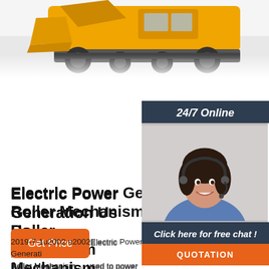[Figure (photo): Partial view of a yellow heavy construction machine (loader/bulldozer) showing the undercarriage, wheels, and bucket, photographed against a white background.]
[Figure (photo): 24/7 Online customer service representative — a smiling woman with dark hair wearing a headset, shown from chest up, overlaid on a dark navy sidebar panel with 'Click here for free chat!' text and an orange QUOTATION button.]
Electric Power Generation Using Roller Mechanism
2019-7-1u2002·u2002Electric Power Generation Using Roller Mechanism ... used to power road signs, lights and street lights or stored in batteries for ... The track is made up of metal rollers that rotate by using the pressure exerted by vehicles passing over it. ... the wheels want to drive the engine…
Get Price